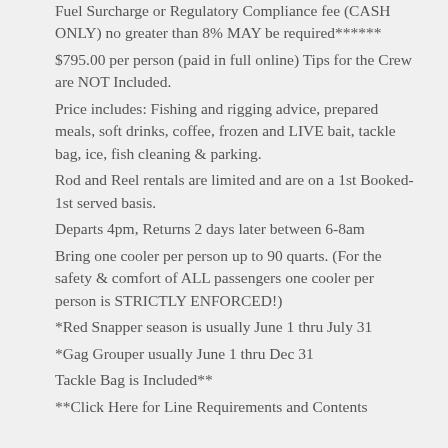Fuel Surcharge or Regulatory Compliance fee (CASH ONLY) no greater than 8% MAY be required******
$795.00 per person (paid in full online) Tips for the Crew are NOT Included.
Price includes: Fishing and rigging advice, prepared meals, soft drinks, coffee, frozen and LIVE bait, tackle bag, ice, fish cleaning & parking.
Rod and Reel rentals are limited and are on a 1st Booked-1st served basis.
Departs 4pm, Returns 2 days later between 6-8am
Bring one cooler per person up to 90 quarts. (For the safety & comfort of ALL passengers one cooler per person is STRICTLY ENFORCED!)
*Red Snapper season is usually June 1 thru July 31
*Gag Grouper usually June 1 thru Dec 31
Tackle Bag is Included**
**Click Here for Line Requirements and Contents